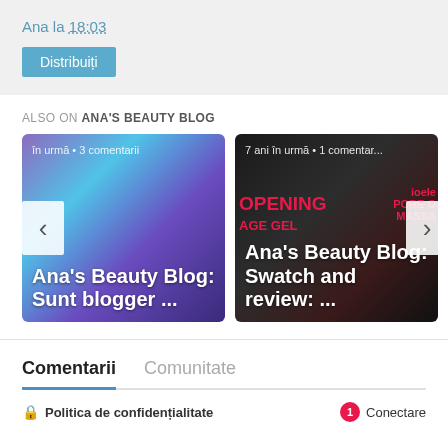Ana la 18:03
Distribuiți
ALSO ON ANA'S BEAUTY BLOG
[Figure (screenshot): Carousel of two blog post cards. Left card: colorful iridescent eyelash photo with text 'în urmă • 3 comentarii' and title 'Ana's Beauty Blog: Sunt blogger ...'. Right card: dark blackhead product photo with text '7 ani în urmă • 1 comentar...' and title 'Ana's Beauty Blog: Swatch and review: ...' Navigation arrows on left and right.]
Comentarii
Comunitate
Politica de confidențialitate
Conectare